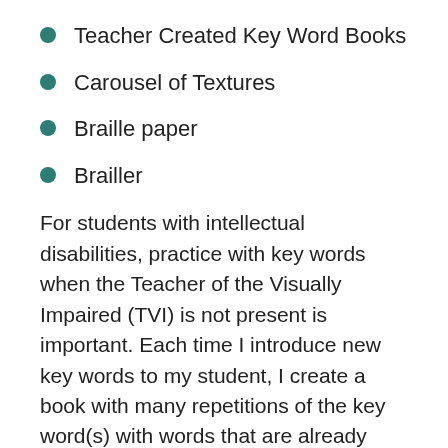Teacher Created Key Word Books
Carousel of Textures
Braille paper
Brailler
For students with intellectual disabilities, practice with key words when the Teacher of the Visually Impaired (TVI) is not present is important. Each time I introduce new key words to my student, I create a book with many repetitions of the key word(s) with words that are already known to the student. Write the words above the braille so the classroom